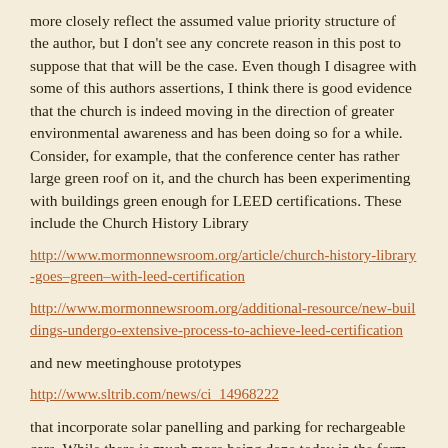more closely reflect the assumed value priority structure of the author, but I don't see any concrete reason in this post to suppose that that will be the case. Even though I disagree with some of this authors assertions, I think there is good evidence that the church is indeed moving in the direction of greater environmental awareness and has been doing so for a while. Consider, for example, that the conference center has rather large green roof on it, and the church has been experimenting with buildings green enough for LEED certifications. These include the Church History Library
http://www.mormonnewsroom.org/article/church-history-library-goes–green–with-leed-certification
http://www.mormonnewsroom.org/additional-resource/new-buildings-undergo-extensive-process-to-achieve-leed-certification
and new meetinghouse prototypes
http://www.sltrib.com/news/ci_14968222
that incorporate solar panelling and parking for rechargeable cars. While there is much more being done today in the form of stewardship facilities, the experience the church has moving...